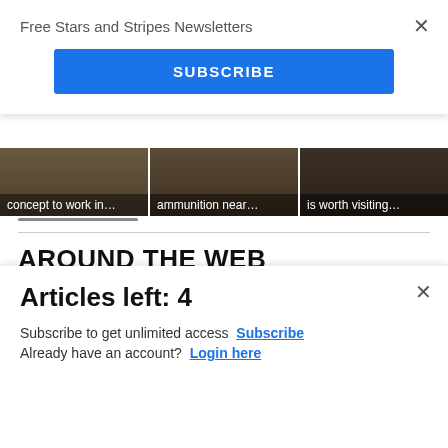Free Stars and Stripes Newsletters
[Figure (screenshot): Blue SUBSCRIBE button]
[Figure (photo): Three image cards with captions: 'concept to work in...', 'ammunition near...', 'is worth visiting...']
AROUND THE WEB
[Figure (screenshot): Commissary Click2Go advertisement banner with logo and 'order groceries' text]
Articles left: 4
Subscribe to get unlimited access Subscribe
Already have an account? Login here